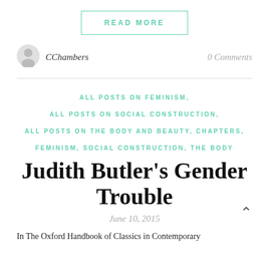[Figure (other): READ MORE button with teal border]
[Figure (other): User avatar icon (gray silhouette)]
CChambers
0 Comments
ALL POSTS ON FEMINISM, ALL POSTS ON SOCIAL CONSTRUCTION, ALL POSTS ON THE BODY AND BEAUTY, CHAPTERS, FEMINISM, SOCIAL CONSTRUCTION, THE BODY
Judith Butler's Gender Trouble
June 10, 2015
In The Oxford Handbook of Classics in Contemporary